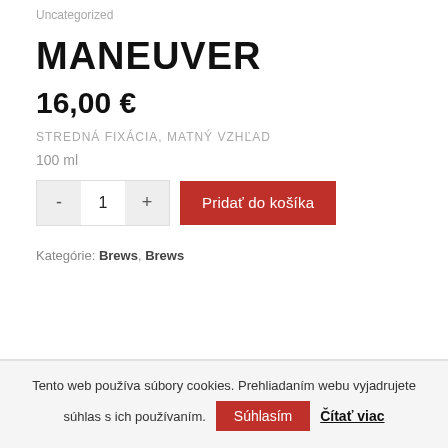Uncategorized
MANEUVER
16,00 €
STREDNÁ FIXÁCIA, MATNÝ VZHĽAD
100 ml
- 1 + Pridať do košíka
Kategórie: Brews, Brews
Tento web používa súbory cookies. Prehliadaním webu vyjadrujete súhlas s ich používaním. Súhlasím Čítať viac